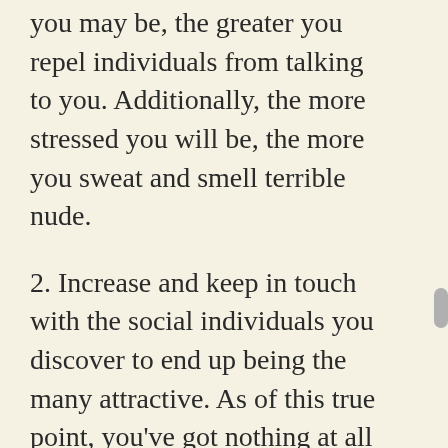you may be, the greater you repel individuals from talking to you. Additionally, the more stressed you will be, the more you sweat and smell terrible nude.
2. Increase and keep in touch with the social individuals you discover to end up being the many attractive. As of this true point, you've got nothing at all to get